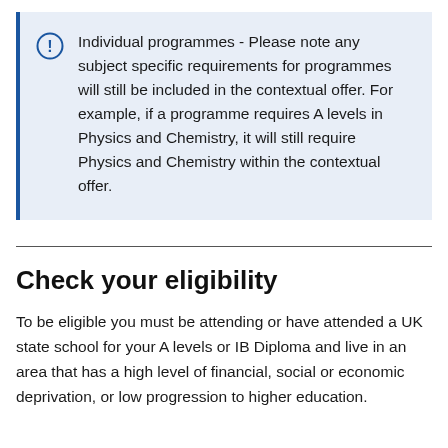Individual programmes - Please note any subject specific requirements for programmes will still be included in the contextual offer. For example, if a programme requires A levels in Physics and Chemistry, it will still require Physics and Chemistry within the contextual offer.
Check your eligibility
To be eligible you must be attending or have attended a UK state school for your A levels or IB Diploma and live in an area that has a high level of financial, social or economic deprivation, or low progression to higher education.